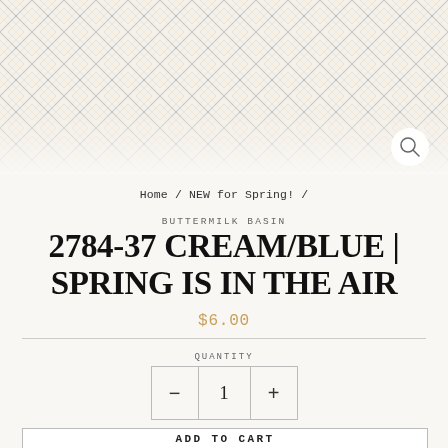[Figure (illustration): Decorative header with cream and blue plaid/diamond lattice pattern background, with a white circular search icon in the bottom right.]
Home / NEW for Spring! /
BUTTERMILK BASIN
2784-37 CREAM/BLUE | SPRING IS IN THE AIR
$6.00
QUANTITY
- 1 +
ADD TO CART